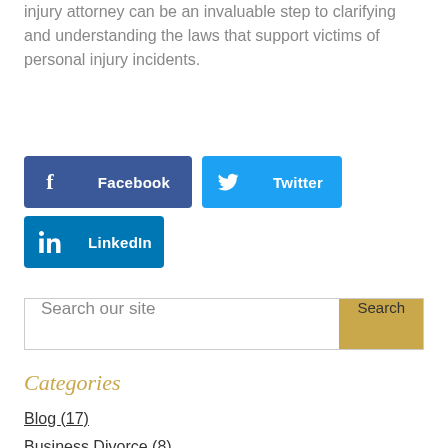injury attorney can be an invaluable step to clarifying and understanding the laws that support victims of personal injury incidents.
[Figure (other): Social sharing buttons: Facebook (dark blue), Twitter (cyan blue), LinkedIn (blue)]
[Figure (other): Search bar with placeholder 'Search our site' and gold 'Search' button]
Categories
Blog (17)
Business Divorce (8)